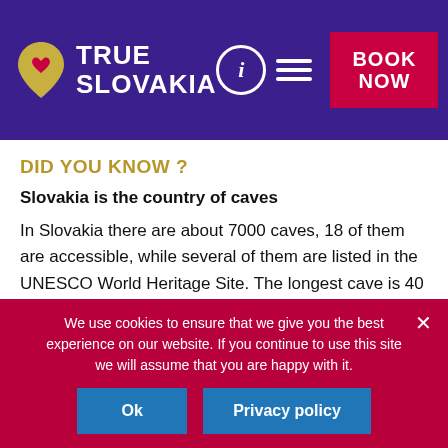TRUE SLOVAKIA
DID YOU KNOW ?
Slovakia is the country of caves
In Slovakia there are about 7000 caves, 18 of them are accessible, while several of them are listed in the UNESCO World Heritage Site. The longest cave is 40 453 m long and the deepest cave has 499,86 m.
We use cookies to ensure that we give you the best experience on our website. If you continue to use this site we will assume that you are happy with it.